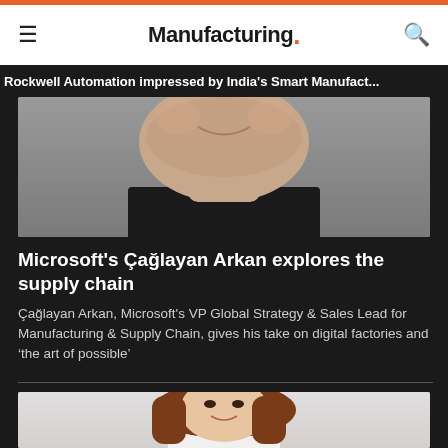Manufacturing.
Rockwell Automation impressed by India's Smart Manufact...
[Figure (photo): Close-up photograph of a man's lower face and neck, wearing a dark jacket, smiling, against a grey background.]
Microsoft's Çağlayan Arkan explores the supply chain
Çağlayan Arkan, Microsoft's VP Global Strategy & Sales Lead for Manufacturing & Supply Chain, gives his take on digital factories and 'the art of possible'
[Figure (photo): Photograph of a woman with shoulder-length brown hair, smiling, against a white/light grey background.]